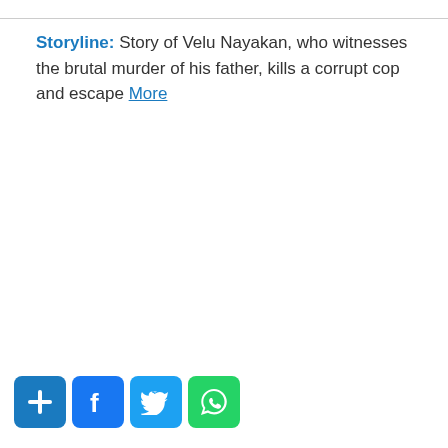Storyline: Story of Velu Nayakan, who witnesses the brutal murder of his father, kills a corrupt cop and escape More
[Figure (infographic): Four social share buttons: add/plus button (blue), Facebook button (blue), Twitter button (light blue), WhatsApp button (green)]